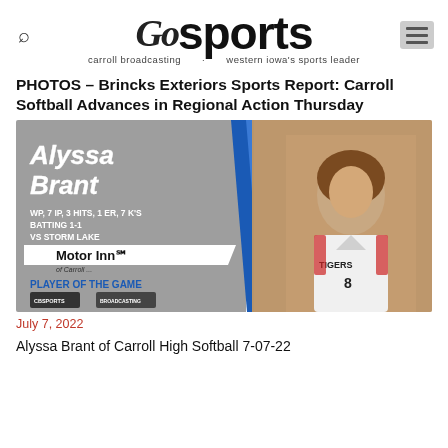CB Sports — carroll broadcasting, western iowa's sports leader
PHOTOS – Brincks Exteriors Sports Report: Carroll Softball Advances in Regional Action Thursday
[Figure (photo): Composite sports graphic showing Alyssa Brant, player of the game. Left side grey panel with white italic text 'Alyssa Brant', blue diagonal stripe, stats: WP, 7 IP, 3 HITS, 1 ER, 7 K'S / BATTING 1-1 / VS STORM LAKE, Motor Inn of Carroll Player of the Game logo, CB Sports and Carroll Broadcasting logos. Right side: photo of Alyssa Brant in Carroll Tigers #8 white softball uniform against brick wall.]
July 7, 2022
Alyssa Brant of Carroll High Softball 7-07-22